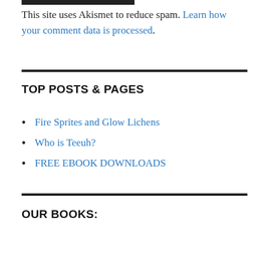This site uses Akismet to reduce spam. Learn how your comment data is processed.
TOP POSTS & PAGES
Fire Sprites and Glow Lichens
Who is Teeuh?
FREE EBOOK DOWNLOADS
OUR BOOKS: